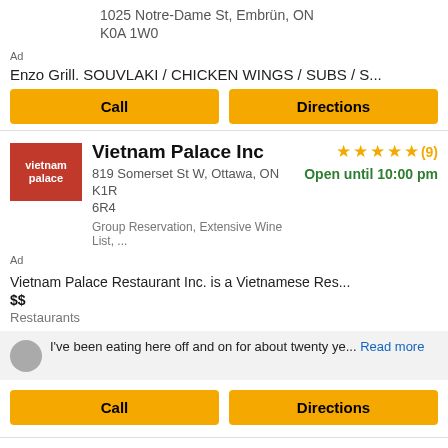1025 Notre-Dame St, Embrün, ON K0A 1W0
Ad
Enzo Grill. SOUVLAKI / CHICKEN WINGS / SUBS / S...
Call
Directions
Vietnam Palace Inc
819 Somerset St W, Ottawa, ON K1R 6R4
★★★★★ (9)
Open until 10:00 pm
Group Reservation, Extensive Wine List, ...
Ad
Vietnam Palace Restaurant Inc. is a Vietnamese Res...
$$
Restaurants
I've been eating here off and on for about twenty ye... Read more
Call
Directions
Boston Pizza
1681 Greenbank Rd, Barrhaven, ON K2J 4Y6
★★★☆☆ (1)
Closed now
American, Casual